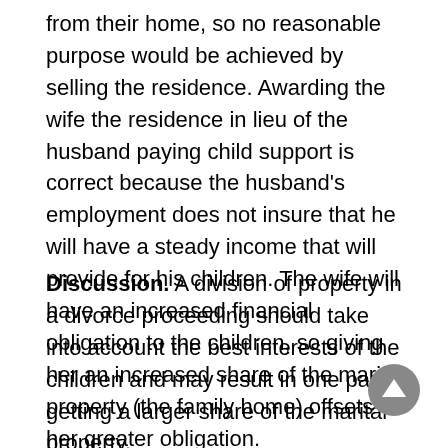from their home, so no reasonable purpose would be achieved by selling the residence. Awarding the wife the residence in lieu of the husband paying child support is correct because the husband's employment does not insure that he will have a steady income that will provide for his children. The wife will have an increased financial obligation to the children, so giving her an increased share of the marital property (the family home) offsets her greater obligation.
Discussion. A division of property in a divorce proceeding should take into account the best interests of the children and may result in one party getting a larger share of the marital property.